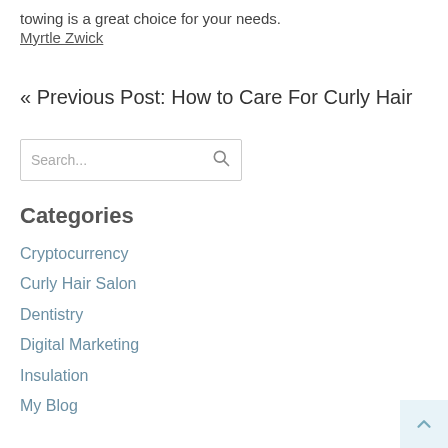towing is a great choice for your needs.
Myrtle Zwick
« Previous Post: How to Care For Curly Hair
Search...
Categories
Cryptocurrency
Curly Hair Salon
Dentistry
Digital Marketing
Insulation
My Blog